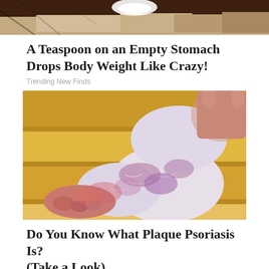[Figure (photo): Top portion of a photo showing a dark wooden surface with white powder (presumably sugar or salt) in a bowl or spoon, cropped at top of page]
A Teaspoon on an Empty Stomach Drops Body Weight Like Crazy!
Trending New Finds
[Figure (photo): Close-up photo of a human foot and ankle held up, showing skin with psoriasis plaques — reddish, scaly patches against pale/bluish inflamed skin, on a wooden floor background]
Do You Know What Plaque Psoriasis Is? (Take a Look)